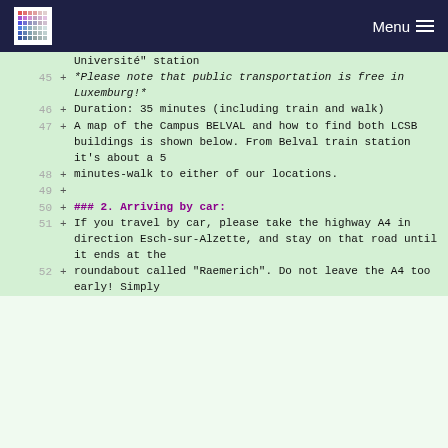Menu
Université" station
45 + *Please note that public transportation is free in Luxemburg!*
46 + Duration: 35 minutes (including train and walk)
47 + A map of the Campus BELVAL and how to find both LCSB buildings is shown below. From Belval train station it's about a 5
48 + minutes-walk to either of our locations.
49 +
50 + ### 2. Arriving by car:
51 + If you travel by car, please take the highway A4 in direction Esch-sur-Alzette, and stay on that road until it ends at the
52 + roundabout called "Raemerich". Do not leave the A4 too early! Simply